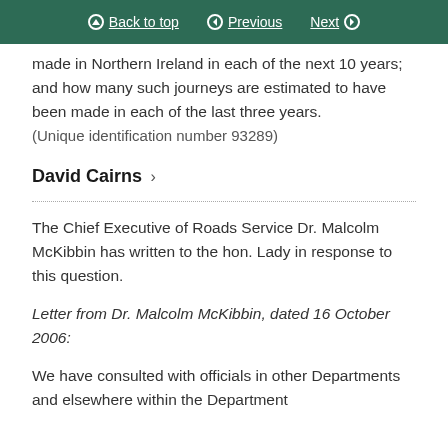Back to top | Previous | Next
made in Northern Ireland in each of the next 10 years; and how many such journeys are estimated to have been made in each of the last three years. (Unique identification number 93289)
David Cairns
The Chief Executive of Roads Service Dr. Malcolm McKibbin has written to the hon. Lady in response to this question.
Letter from Dr. Malcolm McKibbin, dated 16 October 2006:
We have consulted with officials in other Departments and elsewhere within the Department